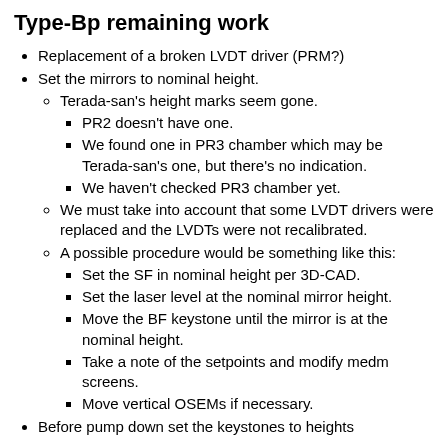Type-Bp remaining work
Replacement of a broken LVDT driver (PRM?)
Set the mirrors to nominal height.
Terada-san's height marks seem gone.
PR2 doesn't have one.
We found one in PR3 chamber which may be Terada-san's one, but there's no indication.
We haven't checked PR3 chamber yet.
We must take into account that some LVDT drivers were replaced and the LVDTs were not recalibrated.
A possible procedure would be something like this:
Set the SF in nominal height per 3D-CAD.
Set the laser level at the nominal mirror height.
Move the BF keystone until the mirror is at the nominal height.
Take a note of the setpoints and modify medm screens.
Move vertical OSEMs if necessary.
Before pump down set the keystones to heights